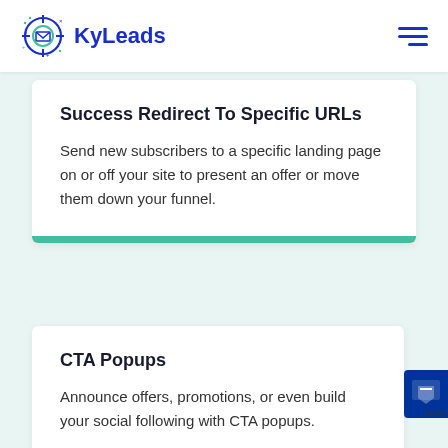[Figure (logo): KyLeads logo with crosshair icon containing envelope, text 'KyLeads' in dark blue]
Success Redirect To Specific URLs
Send new subscribers to a specific landing page on or off your site to present an offer or move them down your funnel.
CTA Popups
Announce offers, promotions, or even build your social following with CTA popups.